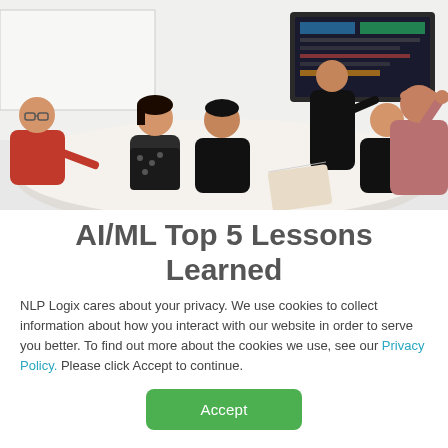[Figure (photo): Business meeting scene: several people seated around a white oval table in a bright conference room. One person stands at a screen/TV showing a dashboard/charts. People are engaged in discussion.]
AI/ML Top 5 Lessons Learned
NLP Logix cares about your privacy. We use cookies to collect information about how you interact with our website in order to serve you better. To find out more about the cookies we use, see our Privacy Policy. Please click Accept to continue.